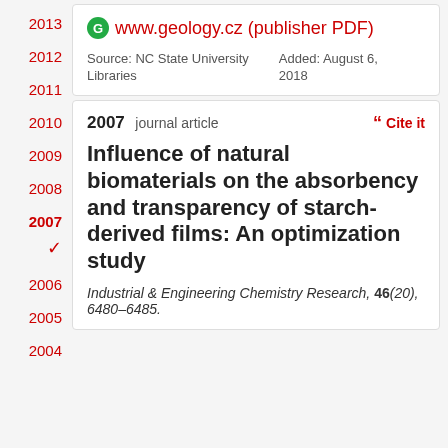2013
2012
2011
2010
2009
2008
2007 ✓ (selected)
2006
2005
2004
www.geology.cz (publisher PDF)
Source: NC State University Libraries    Added: August 6, 2018
2007 journal article
Cite it
Influence of natural biomaterials on the absorbency and transparency of starch-derived films: An optimization study
Industrial & Engineering Chemistry Research, 46(20), 6480–6485.